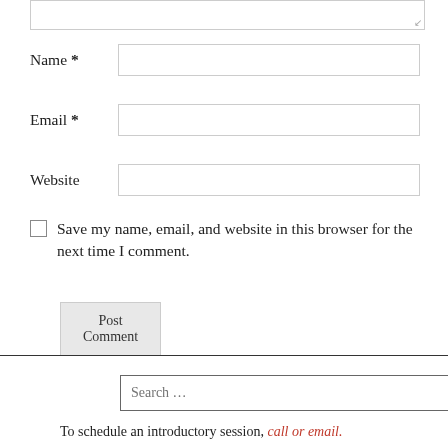Name *
Email *
Website
Save my name, email, and website in this browser for the next time I comment.
Post Comment
Search …
To schedule an introductory session, call or email.